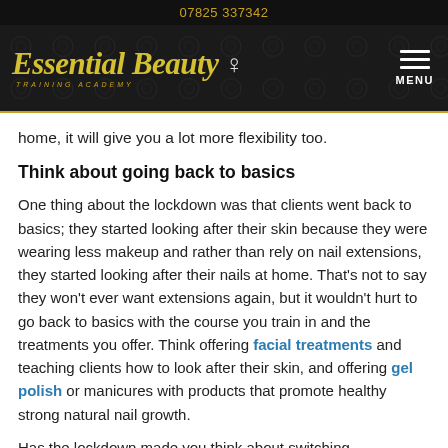07825 337342
[Figure (logo): Essential Beauty Training Academy logo with stylized italic script text in gold, silhouette of a woman's face, on dark background with menu button]
home, it will give you a lot more flexibility too.
Think about going back to basics
One thing about the lockdown was that clients went back to basics; they started looking after their skin because they were wearing less makeup and rather than rely on nail extensions, they started looking after their nails at home. That's not to say they won't ever want extensions again, but it wouldn't hurt to go back to basics with the course you train in and the treatments you offer. Think offering facial treatments and teaching clients how to look after their skin, and offering gel polish or manicures with products that promote healthy strong natural nail growth.
Has the lockdown made you think about switching